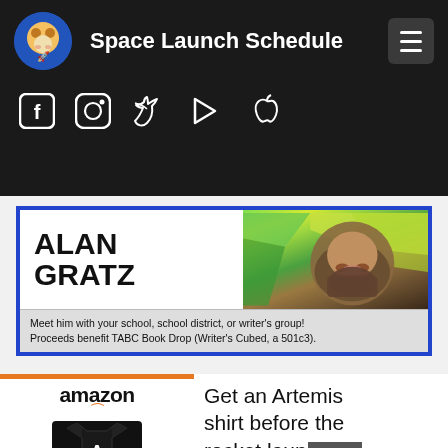Space Launch Schedule
[Figure (screenshot): Navigation bar with Space Launch Schedule logo (monkey astronaut), title, hamburger menu button, and social media icons for Facebook, Instagram, Twitter, Google Play, and Apple]
[Figure (infographic): Alan Gratz advertisement banner with blue border. Bold text reads ALAN GRATZ with a photo of a bearded man. Description: Meet him with your school, school district, or writer's group! Proceeds benefit TABC Book Drop (Writer's Cubed, a 501c3).]
[Figure (infographic): Amazon advertisement showing an Artemis t-shirt with text: Get an Artemis shirt before the rocket laun[ches] with a CLOSE button]